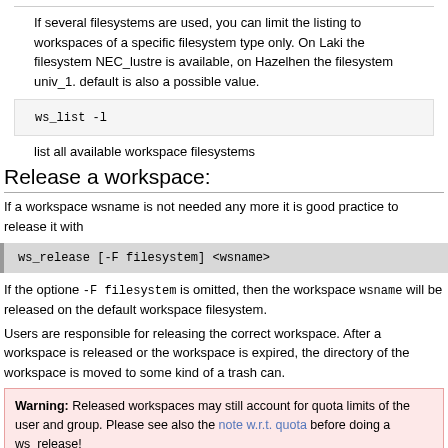If several filesystems are used, you can limit the listing to workspaces of a specific filesystem type only. On Laki the filesystem NEC_lustre is available, on Hazelhen the filesystem univ_1. default is also a possible value.
ws_list -l
list all available workspace filesystems
Release a workspace:
If a workspace wsname is not needed any more it is good practice to release it with
ws_release [-F filesystem] <wsname>
If the optione -F filesystem is omitted, then the workspace wsname will be released on the default workspace filesystem.
Users are responsible for releasing the correct workspace. After a workspace is released or the workspace is expired, the directory of the workspace is moved to some kind of a trash can.
Warning: Released workspaces may still account for quota limits of the user and group. Please see also the note w.r.t. quota before doing a ws_release!